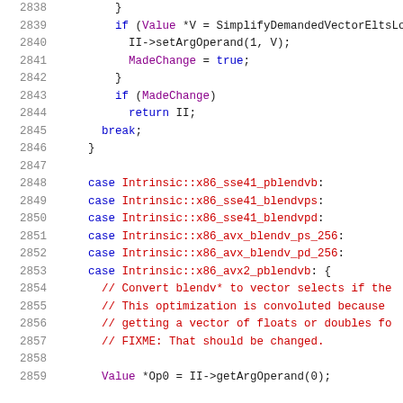[Figure (screenshot): Source code listing showing C++ code lines 2838-2859, with syntax highlighting. Lines show control flow with if/break/case statements, Intrinsic enum values, and comments about blendv vector operations.]